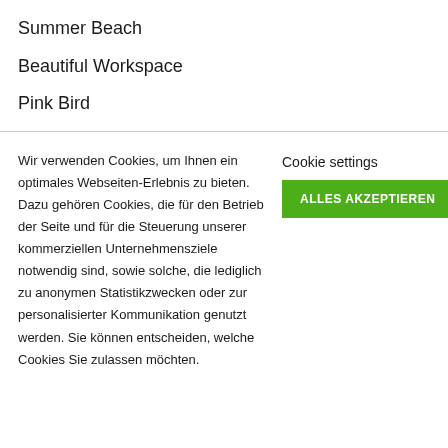Summer Beach
Beautiful Workspace
Pink Bird
Wir verwenden Cookies, um Ihnen ein optimales Webseiten-Erlebnis zu bieten. Dazu gehören Cookies, die für den Betrieb der Seite und für die Steuerung unserer kommerziellen Unternehmensziele notwendig sind, sowie solche, die lediglich zu anonymen Statistikzwecken oder zur personalisierter Kommunikation genutzt werden. Sie können entscheiden, welche Cookies Sie zulassen möchten.
Cookie settings
ALLES AKZEPTIEREN